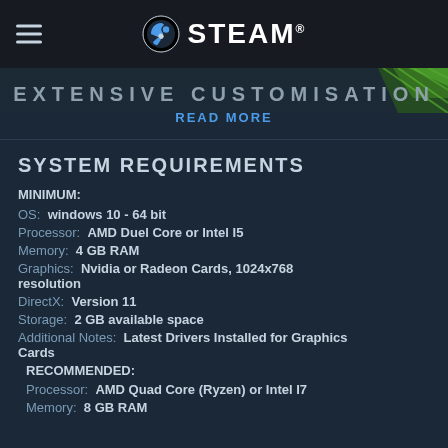STEAM
[Figure (screenshot): Banner image showing 'EXTENSIVE CUSTOMISATION' text with green geometric accent graphic on dark background, with READ MORE link below]
SYSTEM REQUIREMENTS
MINIMUM:
OS:  windows 10 - 64 bit
Processor:  AMD Duel Core or Intel I5
Memory:  4 GB RAM
Graphics:  Nvidia or Radeon Cards, 1024x768 resolution
DirectX:  Version 11
Storage:  2 GB available space
Additional Notes:  Latest Drivers Installed for Graphics Cards
RECOMMENDED:
Processor:  AMD Quad Core (Ryzen) or Intel I7
Memory:  8 GB RAM